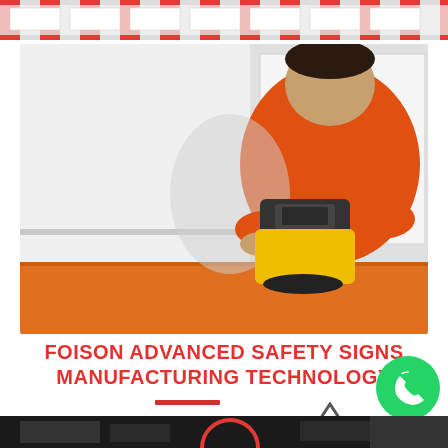[Figure (photo): Partial top strip showing a workspace with safety signs in red and white colors]
[Figure (photo): Man in orange uniform using a yellow and black industrial device (scanner or tool) on an orange surface, against a white wall background in a manufacturing facility]
FOISON ADVANCED SAFETY SIGNS MANUFACTURING TECHNOLOGY
[Figure (logo): Foison logo arrow mark and red divider bar, partially visible. WhatsApp contact button (green circle with phone icon) in bottom right corner.]
[Figure (photo): Bottom strip showing manufacturing equipment in a dark industrial setting]